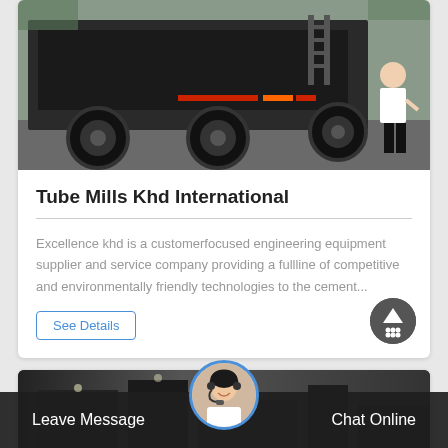[Figure (photo): Photo of a heavy construction truck/equipment vehicle with a person walking nearby, on a paved lot]
Tube Mills Khd International
Excellence khd is a customerfocused engineering equipment supplier and service company providing a fullline of competitive and environmentally friendly technologies to the cement...
See Details
[Figure (photo): Partial photo of industrial/manufacturing facility interior, dark tones]
Leave Message
Chat Online